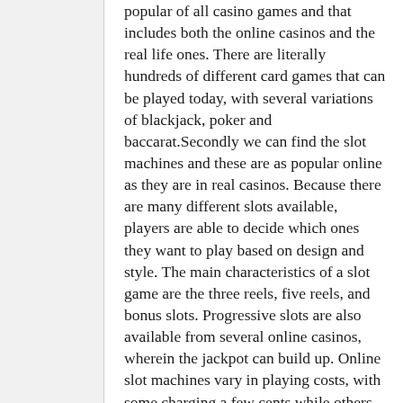popular of all casino games and that includes both the online casinos and the real life ones. There are literally hundreds of different card games that can be played today, with several variations of blackjack, poker and baccarat.Secondly we can find the slot machines and these are as popular online as they are in real casinos. Because there are many different slots available, players are able to decide which ones they want to play based on design and style. The main characteristics of a slot game are the three reels, five reels, and bonus slots. Progressive slots are also available from several online casinos, wherein the jackpot can build up. Online slot machines vary in playing costs, with some charging a few cents while others could cost $5 and upwards for a spin.Thirdly you can find table games. These can include games such as craps where you throw the dice